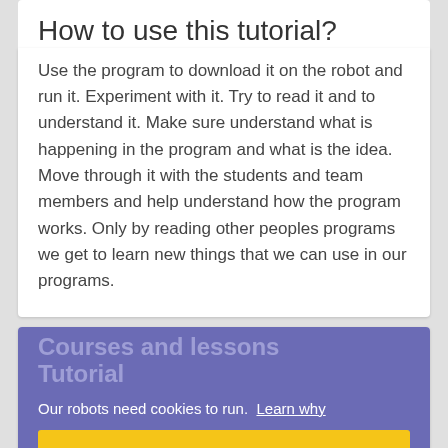How to use this tutorial?
Use the program to download it on the robot and run it. Experiment with it. Try to read it and to understand it. Make sure understand what is happening in the program and what is the idea. Move through it with the students and team members and help understand how the program works. Only by reading other peoples programs we get to learn new things that we can use in our programs.
Our robots need cookies to run. Learn why
Okay, got it!
Courses and lessons Tutorial
This Tutorial is used in the following courses and lessons